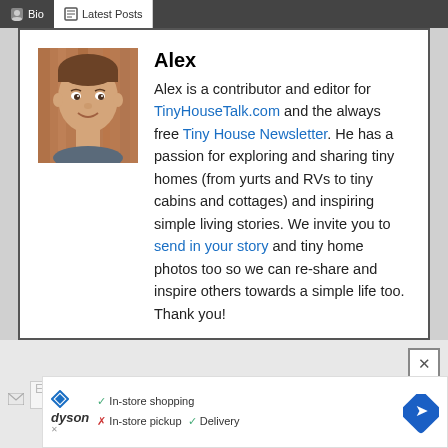Bio | Latest Posts
[Figure (photo): Headshot of Alex, a young man smiling, brownish hair, against a wood background]
Alex
Alex is a contributor and editor for TinyHouseTalk.com and the always free Tiny House Newsletter. He has a passion for exploring and sharing tiny homes (from yurts and RVs to tiny cabins and cottages) and inspiring simple living stories. We invite you to send in your story and tiny home photos too so we can re-share and inspire others towards a simple life too. Thank you!
[Figure (screenshot): Ad banner: Dyson logo with in-store shopping checkmark, in-store pickup X, Delivery checkmark, and a blue map pin icon]